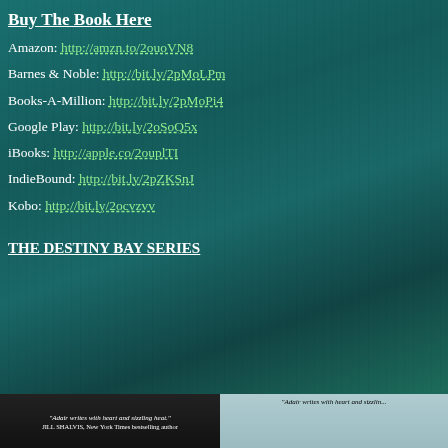Buy The Book Here
Amazon: http://amzn.to/2ouoVN8
Barnes & Noble: http://bit.ly/2pMoLPm
Books-A-Million: http://bit.ly/2pMoPi4
Google Play: http://bit.ly/2oSoQ5x
iBooks: http://apple.co/2ouplTI
IndieBound: http://bit.ly/2pZKSnJ
Kobo: http://bit.ly/2ocvzvv
THE DESTINY BAY SERIES
[Figure (photo): Two book cover images at the bottom showing quotes about the Destiny Bay series]